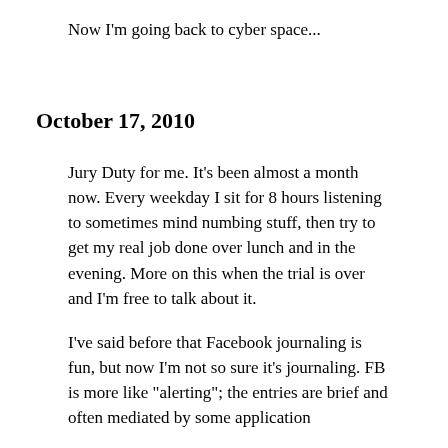Now I'm going back to cyber space...
October 17, 2010
Jury Duty for me. It's been almost a month now. Every weekday I sit for 8 hours listening to sometimes mind numbing stuff, then try to get my real job done over lunch and in the evening. More on this when the trial is over and I'm free to talk about it.
I've said before that Facebook journaling is fun, but now I'm not so sure it's journaling. FB is more like "alerting"; the entries are brief and often mediated by some application